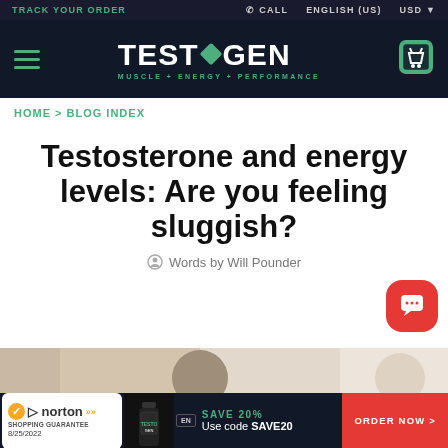TRACK YOUR ORDER | CALL | ENGLISH (US) | USD
[Figure (logo): TESTOGEN logo with green diamond shape, tagline MUSCLE + ENERGY + PERFORMANCE on dark background, hamburger menu left, cart icon right]
HOME > BLOG INDEX
Testosterone and energy levels: Are you feeling sluggish?
Words by Will Pounder
[Figure (photo): Person with head down, appears tired or sluggish, blurred background]
SAVE 20% Use code SAVE20
ORDER NOW >